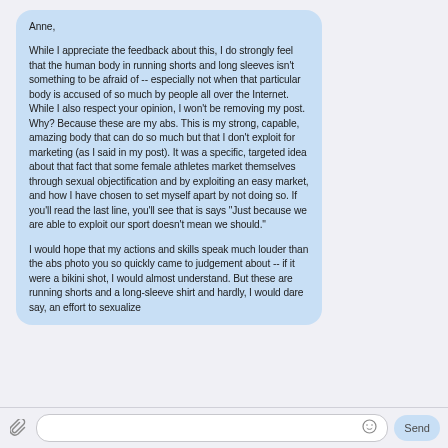Anne,

While I appreciate the feedback about this, I do strongly feel that the human body in running shorts and long sleeves isn't something to be afraid of -- especially not when that particular body is accused of so much by people all over the Internet. While I also respect your opinion, I won't be removing my post. Why? Because these are my abs. This is my strong, capable, amazing body that can do so much but that I don't exploit for marketing (as I said in my post). It was a specific, targeted idea about that fact that some female athletes market themselves through sexual objectification and by exploiting an easy market, and how I have chosen to set myself apart by not doing so. If you'll read the last line, you'll see that is says "Just because we are able to exploit our sport doesn't mean we should."

I would hope that my actions and skills speak much louder than the abs photo you so quickly came to judgement about -- if it were a bikini shot, I would almost understand. But these are running shorts and a long-sleeve shirt and hardly, I would dare say, an effort to sexualize